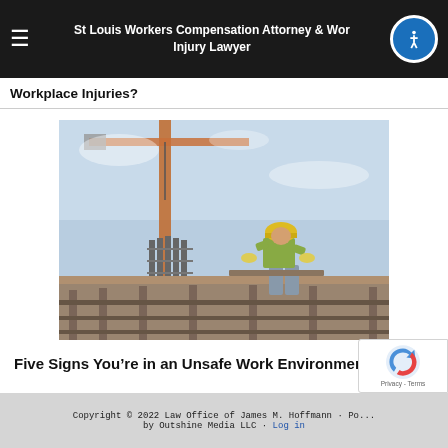St Louis Workers Compensation Attorney & Workers Injury Lawyer
Workplace Injuries?
[Figure (photo): Construction worker in yellow hard hat and safety vest working on a scaffolded building floor, with a large construction crane visible in the background against a blue sky.]
Five Signs You’re in an Unsafe Work Environment
Copyright © 2022 Law Office of James M. Hoffmann · Powered by Outshine Media LLC · Log in